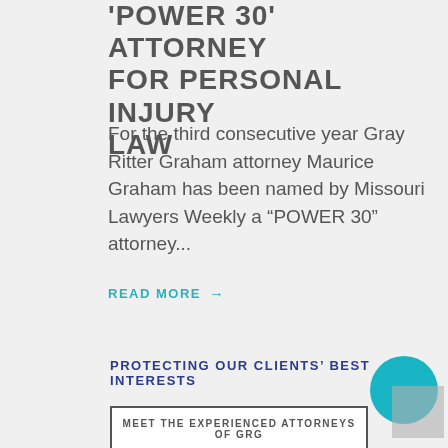POWER 30 ATTORNEY FOR PERSONAL INJURY LAW
For the third consecutive year Gray Ritter Graham attorney Maurice Graham has been named by Missouri Lawyers Weekly a “POWER 30” attorney...
READ MORE →
PROTECTING OUR CLIENTS’ BEST INTERESTS
MEET THE EXPERIENCED ATTORNEYS OF GRG